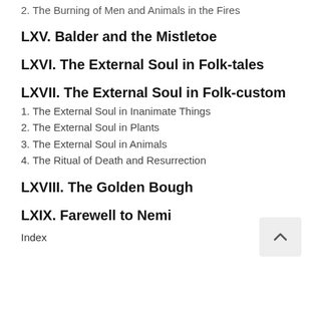2. The Burning of Men and Animals in the Fires
LXV. Balder and the Mistletoe
LXVI. The External Soul in Folk-tales
LXVII. The External Soul in Folk-custom
1. The External Soul in Inanimate Things
2. The External Soul in Plants
3. The External Soul in Animals
4. The Ritual of Death and Resurrection
LXVIII. The Golden Bough
LXIX. Farewell to Nemi
Index